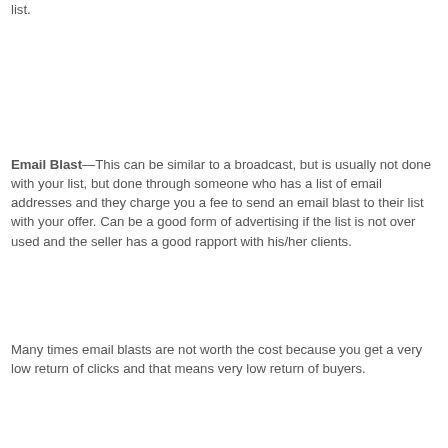list.
Email Blast—This can be similar to a broadcast, but is usually not done with your list, but done through someone who has a list of email addresses and they charge you a fee to send an email blast to their list with your offer. Can be a good form of advertising if the list is not over used and the seller has a good rapport with his/her clients.
Many times email blasts are not worth the cost because you get a very low return of clicks and that means very low return of buyers.